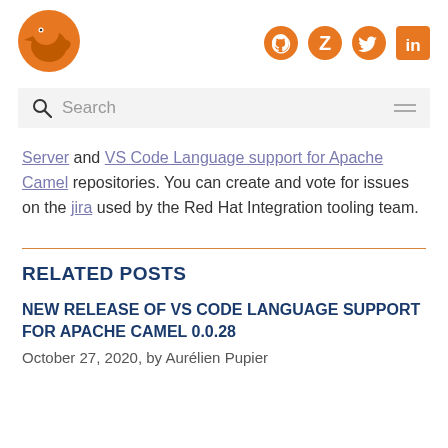[Figure (logo): Orange bird/wolf logo for the website]
[Figure (logo): Social media icons: GitHub, Zulip, Twitter, LinkedIn in orange]
Search
Server and VS Code Language support for Apache Camel repositories. You can create and vote for issues on the jira used by the Red Hat Integration tooling team.
RELATED POSTS
NEW RELEASE OF VS CODE LANGUAGE SUPPORT FOR APACHE CAMEL 0.0.28
October 27, 2020, by Aurélien Pupier